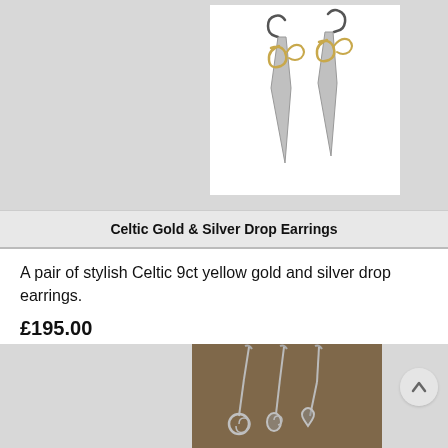[Figure (photo): Celtic gold and silver drop earrings on white background — pointed silver drops with gold Celtic scroll/swirl detail at top, with silver fishhook ear wires]
Celtic Gold & Silver Drop Earrings
A pair of stylish Celtic 9ct yellow gold and silver drop earrings.
£195.00
[Figure (photo): Silver drop earrings with spiral/swirl pendant on brown/sandy background, shown as a pair]